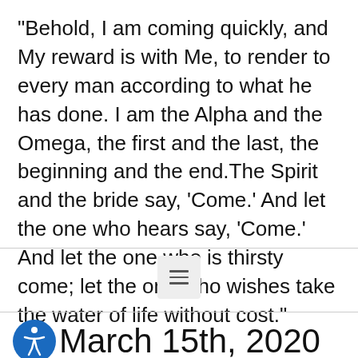“Behold, I am coming quickly, and My reward is with Me, to render to every man according to what he has done. I am the Alpha and the Omega, the first and the last, the beginning and the end.The Spirit and the bride say, ‘Come.’ And let the one who hears say, ‘Come.’ And let the one who is thirsty come; let the one who wishes take the water of life without cost.”
[Figure (other): Hamburger menu icon (three horizontal lines) inside a light gray rounded rectangle]
March 15th, 2020